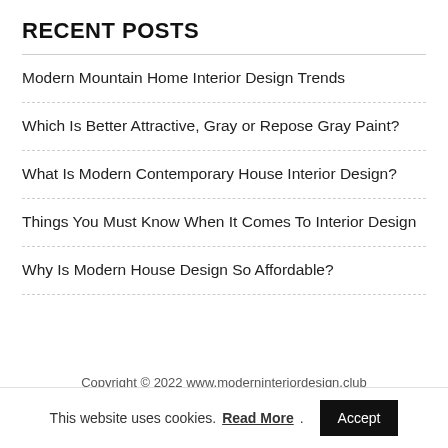RECENT POSTS
Modern Mountain Home Interior Design Trends
Which Is Better Attractive, Gray or Repose Gray Paint?
What Is Modern Contemporary House Interior Design?
Things You Must Know When It Comes To Interior Design
Why Is Modern House Design So Affordable?
Copyright © 2022 www.moderninteriordesign.club
This website uses cookies. Read More. Accept